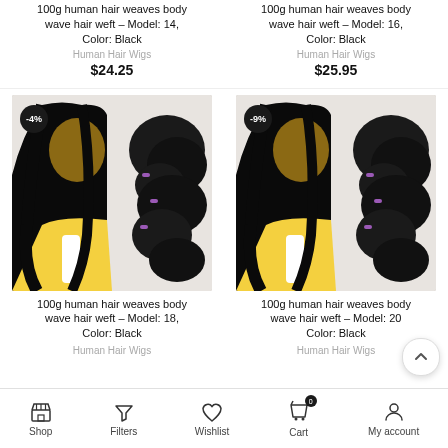100g human hair weaves body wave hair weft – Model: 14, Color: Black
Human Hair Wigs
$24.25
100g human hair weaves body wave hair weft – Model: 16, Color: Black
Human Hair Wigs
$25.95
[Figure (photo): Product photo of hair weaves, model wearing long black body wave hair, -4% discount badge, Model 18]
[Figure (photo): Product photo of hair weaves, model wearing long black body wave hair, -9% discount badge, Model 20]
100g human hair weaves body wave hair weft – Model: 18, Color: Black
100g human hair weaves body wave hair weft – Model: 20 Color: Black
Human Hair Wigs
Human Hair Wigs
Shop   Filters   Wishlist   Cart   My account